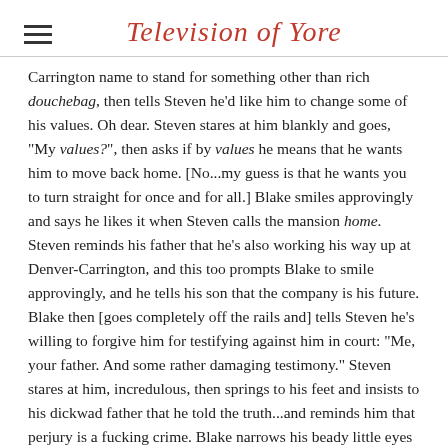Television of Yore
Carrington name to stand for something other than rich douchebag, then tells Steven he'd like him to change some of his values. Oh dear. Steven stares at him blankly and goes, "My values?", then asks if by values he means that he wants him to move back home. [No...my guess is that he wants you to turn straight for once and for all.] Blake smiles approvingly and says he likes it when Steven calls the mansion home. Steven reminds his father that he's also working his way up at Denver-Carrington, and this too prompts Blake to smile approvingly, and he tells his son that the company is his future. Blake then [goes completely off the rails and] tells Steven he's willing to forgive him for testifying against him in court: "Me, your father. And some rather damaging testimony." Steven stares at him, incredulous, then springs to his feet and insists to his dickwad father that he told the truth...and reminds him that perjury is a fucking crime. Blake narrows his beady little eyes and snarls, "You what?!" so Steven cleverly turns the tables and says that he doesn't forgive him for killing his friend. Blake is all, "Wha-a?!